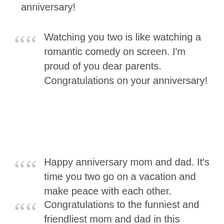anniversary!
Watching you two is like watching a romantic comedy on screen. I'm proud of you dear parents. Congratulations on your anniversary!
Happy anniversary mom and dad. It's time you two go on a vacation and make peace with each other.
Congratulations to the funniest and friendliest mom and dad in this